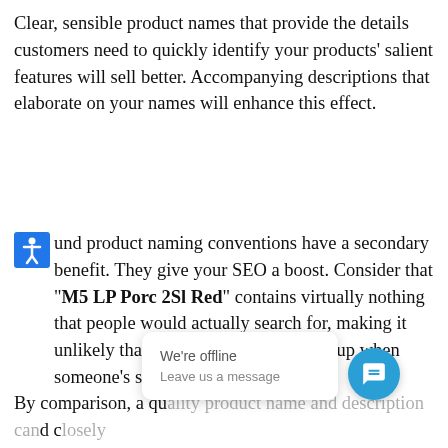Clear, sensible product names that provide the details customers need to quickly identify your products' salient features will sell better. Accompanying descriptions that elaborate on your names will enhance this effect.
Sound product naming conventions have a secondary benefit. They give your SEO a boost. Consider that "M5 LP Porc 2Sl Red" contains virtually nothing that people would actually search for, making it unlikely that your listing would come up when someone's searching for a toaster.
By comparison, a qu... d ... parallel the terms people are searching for. You can